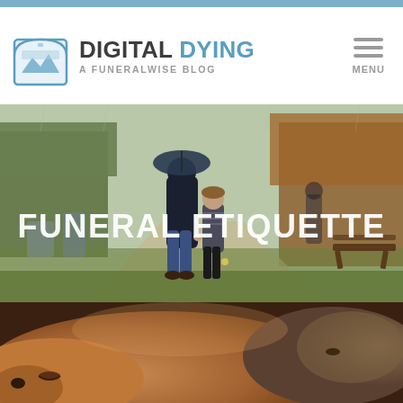DIGITAL DYING — A FUNERALWISE BLOG
[Figure (photo): Hero image of a man and young girl walking in a cemetery in the rain, with hedges and a park bench visible. White text overlay reads FUNERAL ETIQUETTE.]
FUNERAL ETIQUETTE
[Figure (photo): Close-up photo of a sleeping dog (golden/tan colored) with a cat resting nearby, warm and soft focus.]